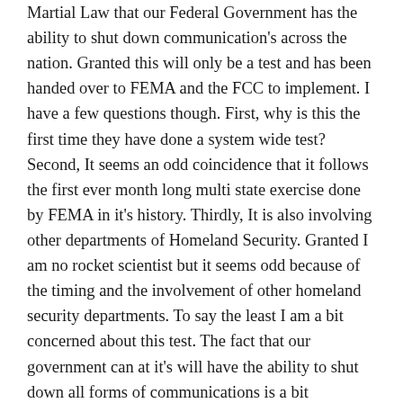Martial Law that our Federal Government has the ability to shut down communication's across the nation. Granted this will only be a test and has been handed over to FEMA and the FCC to implement. I have a few questions though. First, why is this the first time they have done a system wide test? Second, It seems an odd coincidence that it follows the first ever month long multi state exercise done by FEMA in it's history. Thirdly, It is also involving other departments of Homeland Security. Granted I am no rocket scientist but it seems odd because of the timing and the involvement of other homeland security departments. To say the least I am a bit concerned about this test. The fact that our government can at it's will have the ability to shut down all forms of communications is a bit horrifying to me. I already knew that they had the ability to shut down internet and cell phone service anytime they saw fit but to have the ability to shut down all communications across the country